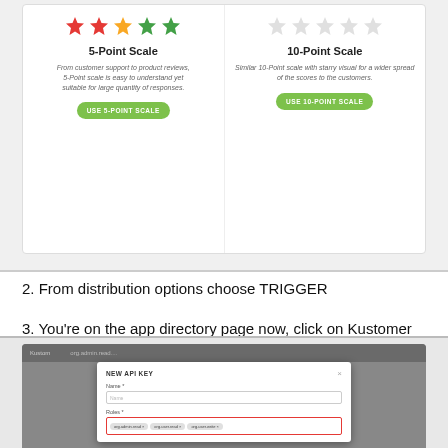[Figure (screenshot): Two rating scale cards: '5-Point Scale' with star icons and a green 'USE 5-POINT SCALE' button, and '10-Point Scale' with a similar layout and 'USE 10-POINT SCALE' button]
2. From distribution options choose TRIGGER
3. You're on the app directory page now, click on Kustomer icon
4. In the next step add your Kustomer URL, (e.g. acme.kustomerapp.com) and your API key. To get your API key go to Settings > Security >API keys > New API key. You need to create new API key and add roles: org.admin.read, org.admin.write, org.user.read, org.user.write. Make sure to set expiration date to "No Expiration"!
[Figure (screenshot): Screenshot of a 'NEW API KEY' dialog box showing Name field and Roles field with role tags (org.admin.read, org.user.read, org.user.write) highlighted with red border]